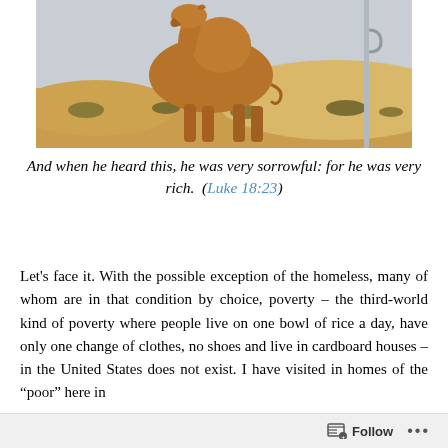[Figure (photo): A camel standing in a sandy desert landscape with sparse dry vegetation and a pale blue sky in the background.]
And when he heard this, he was very sorrowful: for he was very rich.  (Luke 18:23)
Let's face it. With the possible exception of the homeless, many of whom are in that condition by choice, poverty – the third-world kind of poverty where people live on one bowl of rice a day, have only one change of clothes, no shoes and live in cardboard houses – in the United States does not exist. I have visited in homes of the "poor" here in
Follow  ...